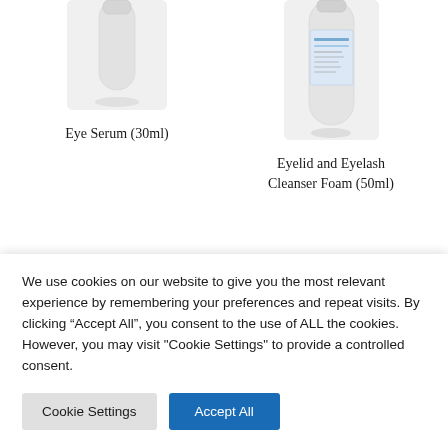[Figure (photo): Product photo of Eye Serum (30ml) — white bottle/tube, partially cropped at top]
Eye Serum (30ml)
[Figure (photo): Product photo of Eyelid and Eyelash Cleanser Foam (50ml) — white cylindrical bottle with label, partially cropped at top]
Eyelid and Eyelash Cleanser Foam (50ml)
[Figure (photo): Partial product photo at bottom — dark blue and white item, cropped]
We use cookies on our website to give you the most relevant experience by remembering your preferences and repeat visits. By clicking “Accept All”, you consent to the use of ALL the cookies. However, you may visit "Cookie Settings" to provide a controlled consent.